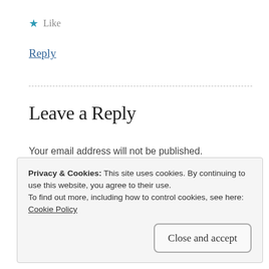★ Like
Reply
Leave a Reply
Your email address will not be published. Required fields are marked *
Privacy & Cookies: This site uses cookies. By continuing to use this website, you agree to their use.
To find out more, including how to control cookies, see here: Cookie Policy
Close and accept